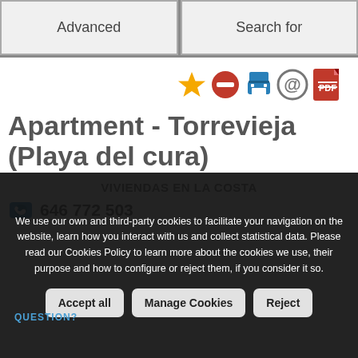Advanced | Search for
[Figure (infographic): Row of action icons: star (favourite), minus/remove, print, email, PDF]
Apartment - Torrevieja (Playa del cura)
VIVIENDAS EN LA COSTA
646 772 503
We use our own and third-party cookies to facilitate your navigation on the website, learn how you interact with us and collect statistical data. Please read our Cookies Policy to learn more about the cookies we use, their purpose and how to configure or reject them, if you consider it so.
Accept all | Manage Cookies | Reject
QUESTION?